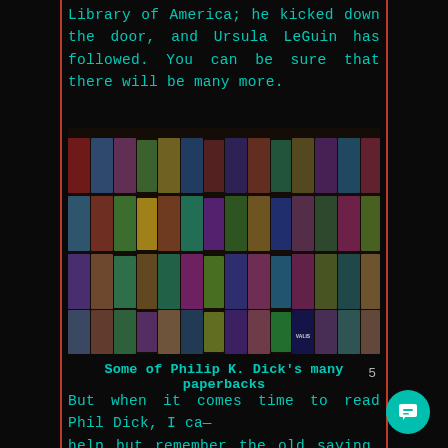Library of America; he kicked down the door, and Ursula LeGuin has followed. You can be sure that there will be many more.
[Figure (photo): A large collection of Philip K. Dick paperback books arranged in overlapping rows on a dark surface, showing colorful science fiction cover art.]
Some of Philip K. Dick's many paperbacks
5
But when it comes time to read Phil Dick, I ca— help but remember the old saying, “Dance with